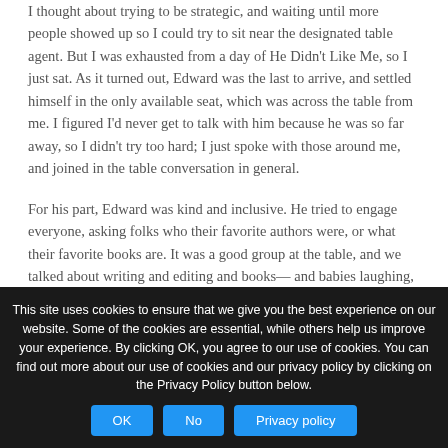I thought about trying to be strategic, and waiting until more people showed up so I could try to sit near the designated table agent. But I was exhausted from a day of He Didn't Like Me, so I just sat. As it turned out, Edward was the last to arrive, and settled himself in the only available seat, which was across the table from me. I figured I'd never get to talk with him because he was so far away, so I didn't try too hard; I just spoke with those around me, and joined in the table conversation in general.
For his part, Edward was kind and inclusive. He tried to engage everyone, asking folks who their favorite authors were, or what their favorite books are. It was a good group at the table, and we talked about writing and editing and books— and babies laughing, and pets, and what social media influencers are. (As a blogger, I am one.)
We asked Edward questions, and he asked us questions. And maybe because I'd sent Agnes away or maybe because I knew things could only get better than my terrible, awful, no good, very bad day, I just let me be me. When dinner was over and Edward got up to leave, I walked around the table and told him that I enjoyed his conversation and that
This site uses cookies to ensure that we give you the best experience on our website. Some of the cookies are essential, while others help us improve your experience. By clicking OK, you agree to our use of cookies. You can find out more about our use of cookies and our privacy policy by clicking on the Privacy Policy button below.